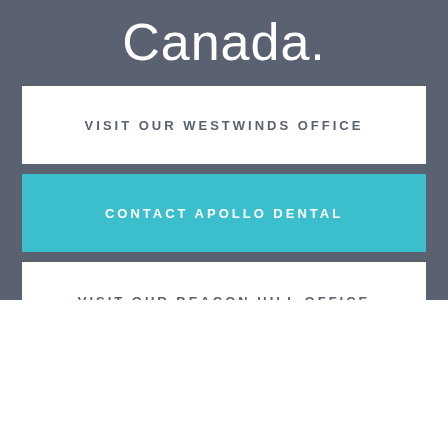Canada.
VISIT OUR WESTWINDS OFFICE
CONTACT APOLLO DENTAL
VISIT OUR BEACON HILL OFFICE